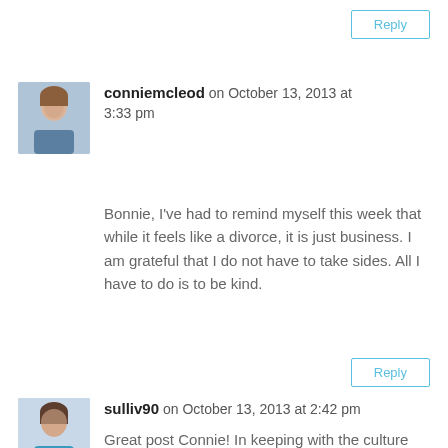Reply
conniemcleod on October 13, 2013 at 3:33 pm
Bonnie, I've had to remind myself this week that while it feels like a divorce, it is just business. I am grateful that I do not have to take sides. All I have to do is to be kind.
Reply
sulliv90 on October 13, 2013 at 2:42 pm
Great post Connie! In keeping with the culture those thre three partners starterd in GenFab, it feels like they've tried to stay civil